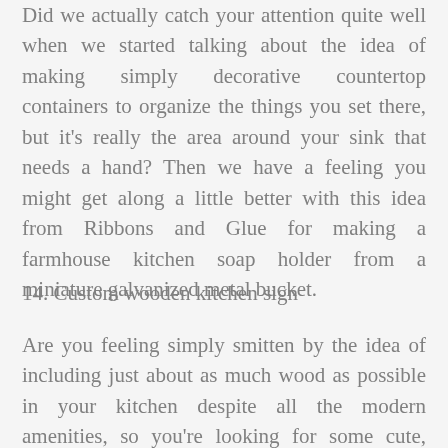Did we actually catch your attention quite well when we started talking about the idea of making simply decorative countertop containers to organize the things you set there, but it's really the area around your sink that needs a hand? Then we have a feeling you might get along a little better with this idea from Ribbons and Glue for making a farmhouse kitchen soap holder from a miniature galvanized metal bucket.
14. Custom wooden kitchen sign
Are you feeling simply smitten by the idea of including just about as much wood as possible in your kitchen despite all the modern amenities, so you're looking for some cute, purely decorative details with which to really top it all off? In that